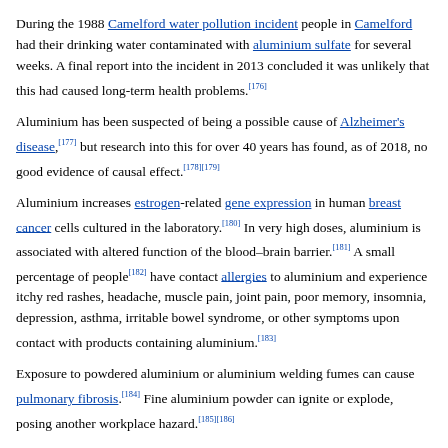During the 1988 Camelford water pollution incident people in Camelford had their drinking water contaminated with aluminium sulfate for several weeks. A final report into the incident in 2013 concluded it was unlikely that this had caused long-term health problems.[176]
Aluminium has been suspected of being a possible cause of Alzheimer's disease,[177] but research into this for over 40 years has found, as of 2018, no good evidence of causal effect.[178][179]
Aluminium increases estrogen-related gene expression in human breast cancer cells cultured in the laboratory.[180] In very high doses, aluminium is associated with altered function of the blood–brain barrier.[181] A small percentage of people[182] have contact allergies to aluminium and experience itchy red rashes, headache, muscle pain, joint pain, poor memory, insomnia, depression, asthma, irritable bowel syndrome, or other symptoms upon contact with products containing aluminium.[183]
Exposure to powdered aluminium or aluminium welding fumes can cause pulmonary fibrosis.[184] Fine aluminium powder can ignite or explode, posing another workplace hazard.[185][186]